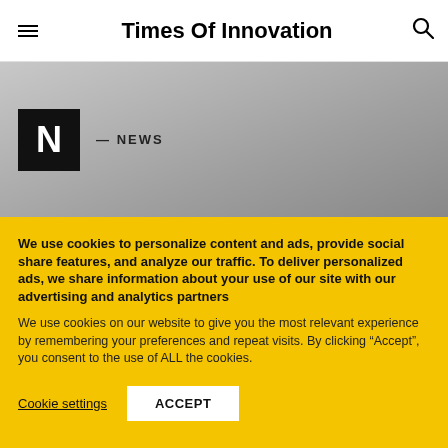Times Of Innovation
[Figure (other): Gray gradient banner with black N logo box and NEWS label]
We use cookies to personalize content and ads, provide social share features, and analyze our traffic. To deliver personalized ads, we share information about your use of our site with our advertising and analytics partners
We use cookies on our website to give you the most relevant experience by remembering your preferences and repeat visits. By clicking “Accept”, you consent to the use of ALL the cookies.
Cookie settings   ACCEPT